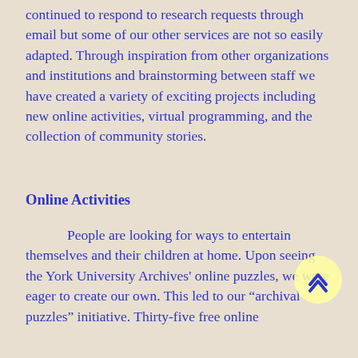continued to respond to research requests through email but some of our other services are not so easily adapted. Through inspiration from other organizations and institutions and brainstorming between staff we have created a variety of exciting projects including new online activities, virtual programming, and the collection of community stories.
Online Activities
People are looking for ways to entertain themselves and their children at home. Upon seeing the York University Archives' online puzzles, we were eager to create our own. This led to our “archival puzzles” initiative. Thirty-five free online